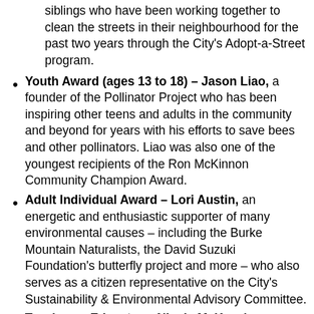siblings who have been working together to clean the streets in their neighbourhood for the past two years through the City's Adopt-a-Street program.
Youth Award (ages 13 to 18) – Jason Liao, a founder of the Pollinator Project who has been inspiring other teens and adults in the community and beyond for years with his efforts to save bees and other pollinators. Liao was also one of the youngest recipients of the Ron McKinnon Community Champion Award.
Adult Individual Award – Lori Austin, an energetic and enthusiastic supporter of many environmental causes – including the Burke Mountain Naturalists, the David Suzuki Foundation's butterfly project and more – who also serves as a citizen representative on the City's Sustainability & Environmental Advisory Committee.
Teacher or Educator – Nicole McKenzie, a